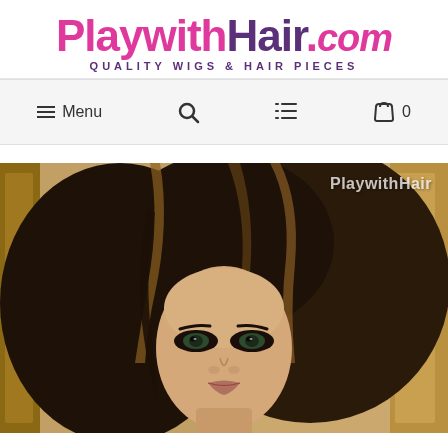[Figure (logo): PlaywithHair.com logo with tagline QUALITY WIGS & HAIR PIECES in purple. 'Playwith' and '.com' in pink/magenta, 'Hair' in purple.]
[Figure (screenshot): Navigation bar with hamburger Menu, Search (magnifying glass), list icon, and shopping bag icon with 0 count]
[Figure (photo): Close-up photo of a female model wearing a long dark brown wig with blonde highlights, wearing dramatic eye makeup, with a PlaywithHair watermark in the upper right corner]